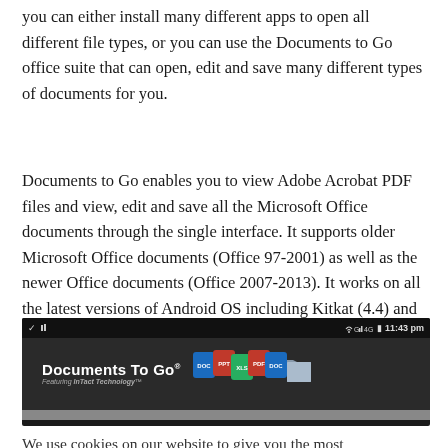you can either install many different apps to open all different file types, or you can use the Documents to Go office suite that can open, edit and save many different types of documents for you.
Documents to Go enables you to view Adobe Acrobat PDF files and view, edit and save all the Microsoft Office documents through the single interface. It supports older Microsoft Office documents (Office 97-2001) as well as the newer Office documents (Office 2007-2013). It works on all the latest versions of Android OS including Kitkat (4.4) and Lollipop (5.0).
[Figure (screenshot): Screenshot of Documents To Go app banner on an Android device showing the app logo with file type icons (DOC, PPT, XLS, PDF, DOC, etc.) and a status bar showing 11:43 pm]
We use cookies on our website to give you the most